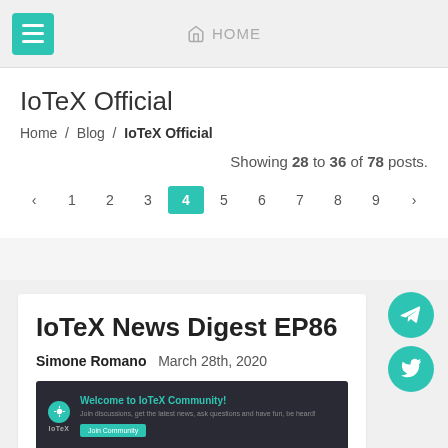HOME
IoTeX Official
Home / Blog / IoTeX Official
Showing 28 to 36 of 78 posts.
« ‹ 1 2 3 4 5 6 7 8 9 › »
IoTeX News Digest EP86
Simone Romano   March 28th, 2020
[Figure (screenshot): Screenshot of IoTeX Community welcome page with teal branding]